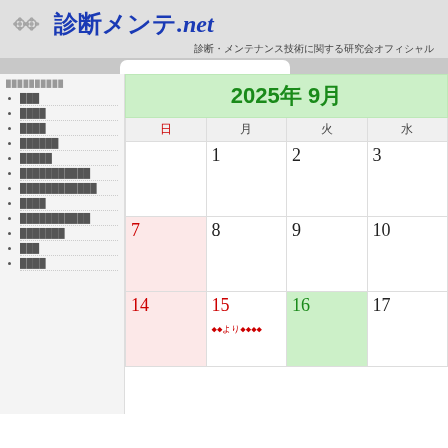診断メンテ.net — 診断・メンテナンス技術に関する研究会オフィシャル
メニュー項目リスト
| 日 | 月 | 火 | 水 |
| --- | --- | --- | --- |
| 2025年 9月 |  |  |  |
|  | 1 | 2 | 3 |
| 7 | 8 | 9 | 10 |
| 14 | 15 ◆◆より◆◆◆◆ | 16 | 17 |